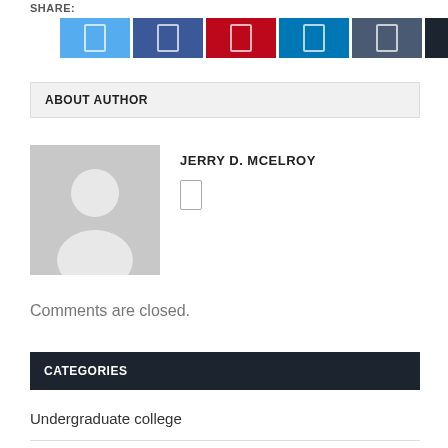SHARE:
[Figure (other): Row of six social share buttons: Twitter (light blue), Facebook (dark blue), Pinterest (red), LinkedIn (teal), a dark blue share button, and a dark near-black more/grid button.]
ABOUT AUTHOR
[Figure (photo): Generic author avatar placeholder: gray square with white silhouette of a person.]
JERRY D. MCELROY
[Figure (other): Small social media icon button (outlined rectangle) next to author name.]
Comments are closed.
CATEGORIES
Undergraduate college